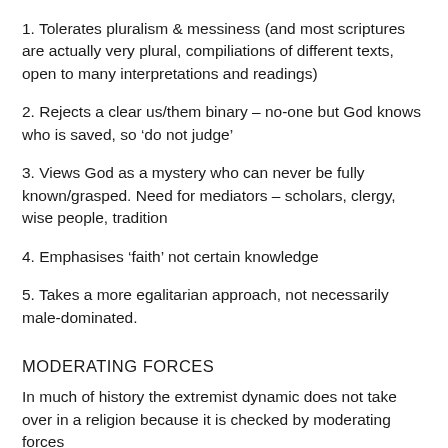1. Tolerates pluralism & messiness (and most scriptures are actually very plural, compiliations of different texts, open to many interpretations and readings)
2. Rejects a clear us/them binary – no-one but God knows who is saved, so ‘do not judge’
3. Views God as a mystery who can never be fully known/grasped. Need for mediators – scholars, clergy, wise people, tradition
4. Emphasises ‘faith’ not certain knowledge
5. Takes a more egalitarian approach, not necessarily male-dominated.
MODERATING FORCES
In much of history the extremist dynamic does not take over in a religion because it is checked by moderating forces